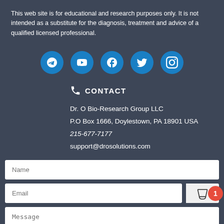This web site is for educational and research purposes only. It is not intended as a substitute for the diagnosis, treatment and advice of a qualified licensed professional.
[Figure (infographic): Five social media icon buttons in blue circles: Telegram, YouTube, Facebook, Twitter, Instagram]
CONTACT
Dr. O Bio-Research Group LLC
P.O Box 1666, Doylestown, PA 18901 USA
215-677-7177
support@drosolutions.com
Name
Email
Message